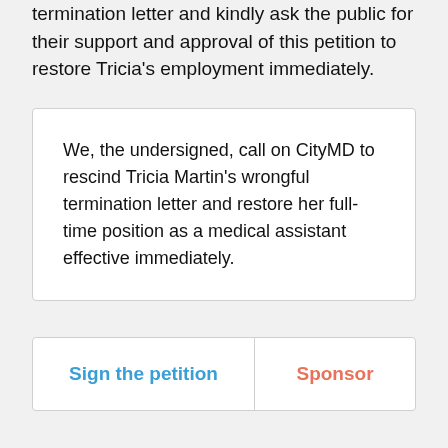termination letter and kindly ask the public for their support and approval of this petition to restore Tricia's employment immediately.
We, the undersigned, call on CityMD to rescind Tricia Martin's wrongful termination letter and restore her full-time position as a medical assistant effective immediately.
Sign the petition
Sponsor